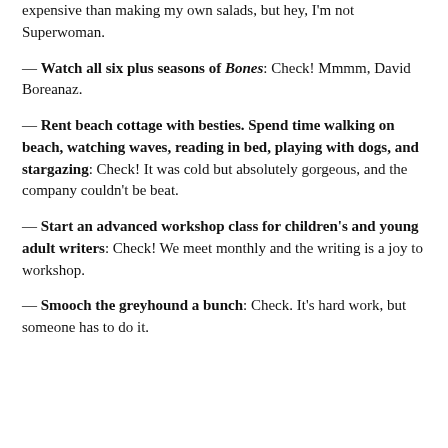expensive than making my own salads, but hey, I'm not Superwoman.
— Watch all six plus seasons of Bones: Check! Mmmm, David Boreanaz.
— Rent beach cottage with besties. Spend time walking on beach, watching waves, reading in bed, playing with dogs, and stargazing: Check! It was cold but absolutely gorgeous, and the company couldn't be beat.
— Start an advanced workshop class for children's and young adult writers: Check! We meet monthly and the writing is a joy to workshop.
— Smooch the greyhound a bunch: Check. It's hard work, but someone has to do it.